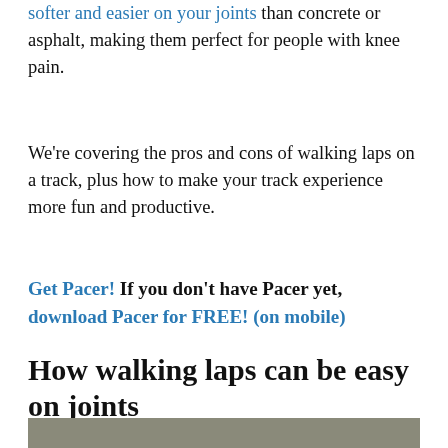softer and easier on your joints than concrete or asphalt, making them perfect for people with knee pain.
We're covering the pros and cons of walking laps on a track, plus how to make your track experience more fun and productive.
Get Pacer! If you don't have Pacer yet, download Pacer for FREE! (on mobile)
How walking laps can be easy on joints
[Figure (photo): Partial photo of people walking outdoors, cropped at bottom of page]